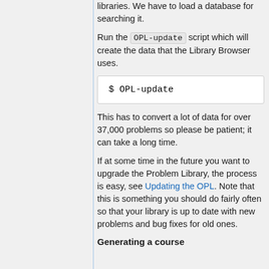libraries. We have to load a database for searching it.
Run the OPL-update script which will create the data that the Library Browser uses.
This has to convert a lot of data for over 37,000 problems so please be patient; it can take a long time.
If at some time in the future you want to upgrade the Problem Library, the process is easy, see Updating the OPL. Note that this is something you should do fairly often so that your library is up to date with new problems and bug fixes for old ones.
Generating a course